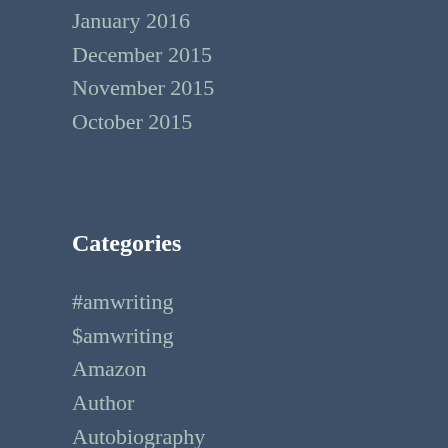January 2016
December 2015
November 2015
October 2015
Categories
#amwriting
$amwriting
Amazon
Author
Autobiography
Blog
blogging
Book
Books
Cat
Creative Writing